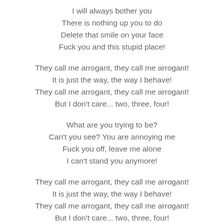I will always bother you
There is nothing up you to do
Delete that smile on your face
Fuck you and this stupid place!
They call me arrogant, they call me arrogant!
It is just the way, the way I behave!
They call me arrogant, they call me arrogant!
But I don't care... two, three, four!
What are you trying to be?
Can't you see? You are annoying me
Fuck you off, leave me alone
I can't stand you anymore!
They call me arrogant, they call me arrogant!
It is just the way, the way I behave!
They call me arrogant, they call me arrogant!
But I don't care... two, three, four!
They call me arrogant, they call me arrogant!
It is just the way, the way I behave!